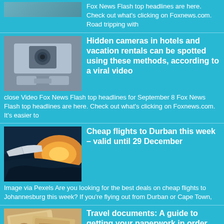Fox News Flash top headlines are here. Check out what's clicking on Foxnews.com. Road tripping with
Hidden cameras in hotels and vacation rentals can be spotted using these methods, according to a viral video
close Video Fox News Flash top headlines for September 8 Fox News Flash top headlines are here. Check out what's clicking on Foxnews.com. It's easier to
Cheap flights to Durban this week – valid until 29 December
Image via Pexels Are you looking for the best deals on cheap flights to Johannesburg this week? If you're flying out from Durban or Cape Town,
Travel documents: A guide to getting your paperwork in order
Blank travel insurance form and map on background Let's take an important look at exactly which documents you need when planning a trip, and what to